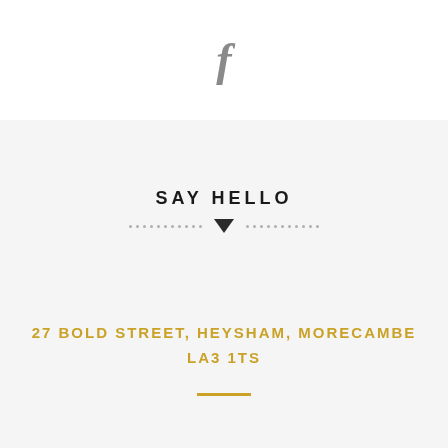[Figure (logo): Facebook 'f' logo in grey]
SAY HELLO
27 BOLD STREET, HEYSHAM, MORECAMBE LA3 1TS